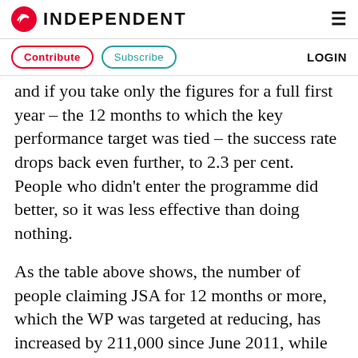INDEPENDENT
Contribute   Subscribe   LOGIN
and if you take only the figures for a full first year – the 12 months to which the key performance target was tied – the success rate drops back even further, to 2.3 per cent. People who didn't enter the programme did better, so it was less effective than doing nothing.
As the table above shows, the number of people claiming JSA for 12 months or more, which the WP was targeted at reducing, has increased by 211,000 since June 2011, while the